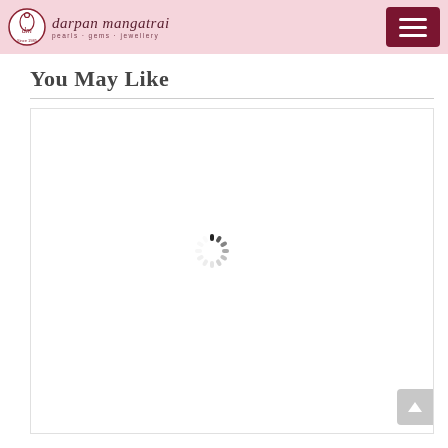darpan mangatrai — pearls · gems · jewellery
You May Like
[Figure (other): A loading spinner (circular spinner animation) centered in a white content area, indicating products are loading. A scroll-to-top button appears in the bottom-right corner.]